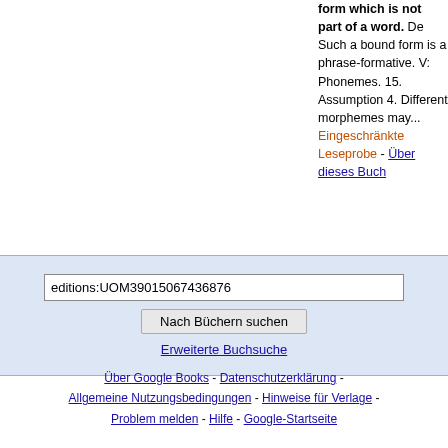form which is not part of a word. De Such a bound form is a phrase-formative. V: Phonemes. 15. Assumption 4. Different morphemes may... Eingeschränkte Leseprobe - Über dieses Buch
editions:UOM39015067436876
Nach Büchern suchen
Erweiterte Buchsuche
Über Google Books - Datenschutzerklärung - Allgemeine Nutzungsbedingungen - Hinweise für Verlage - Problem melden - Hilfe - Google-Startseite